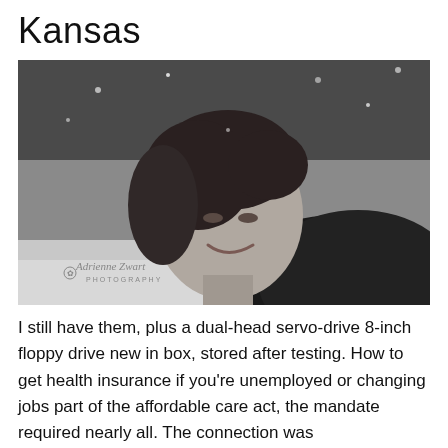Kansas
[Figure (photo): Black and white portrait photograph of a young woman with short dark hair smiling, taken outdoors in snowy conditions. Photo credit watermark reads 'Adrienne Zwart PHOTOGRAPHY' in the lower left corner.]
I still have them, plus a dual-head servo-drive 8-inch floppy drive new in box, stored after testing. How to get health insurance if you're unemployed or changing jobs part of the affordable care act, the mandate required nearly all. The connection was